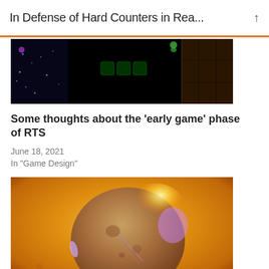In Defense of Hard Counters in Rea...
[Figure (screenshot): Screenshot of a real-time strategy game (StarCraft-style) showing a minimap on the left, dark center panel with HUD buttons, and unit selection panel on the right]
Some thoughts about the ‘early game’ phase of RTS
June 18, 2021
In "Game Design"
[Figure (photo): Space scene showing a large asteroid or planetoid with glowing effects in an orange/amber atmosphere, with a logo symbol at the bottom center]
Wayward’s Watchlist, February 2022
February 14, 2022